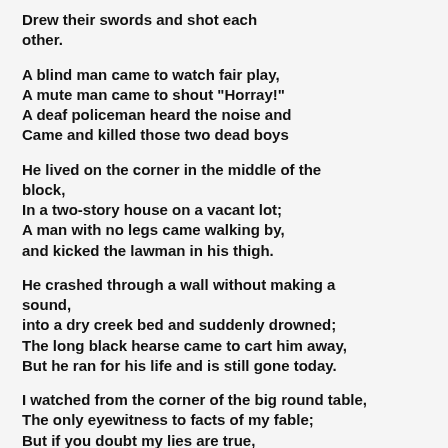Drew their swords and shot each other.
A blind man came to watch fair play,
A mute man came to shout "Horray!"
A deaf policeman heard the noise and
Came and killed those two dead boys
He lived on the corner in the middle of the block,
In a two-story house on a vacant lot;
A man with no legs came walking by,
and kicked the lawman in his thigh.
He crashed through a wall without making a sound,
into a dry creek bed and suddenly drowned;
The long black hearse came to cart him away,
But he ran for his life and is still gone today.
I watched from the corner of the big round table,
The only eyewitness to facts of my fable;
But if you doubt my lies are true,
Just ask the blind man, he saw it too.